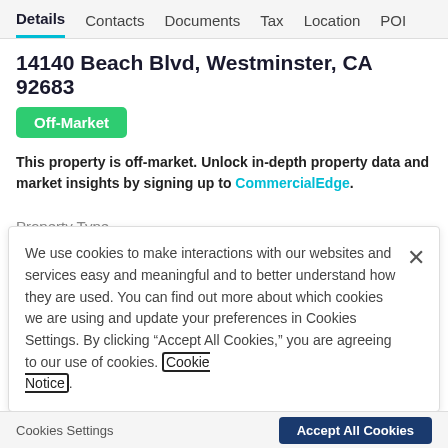Details  Contacts  Documents  Tax  Location  POI
14140 Beach Blvd, Westminster, CA 92683
Off-Market
This property is off-market. Unlock in-depth property data and market insights by signing up to CommercialEdge.
Property Type
Office - Medical Office
We use cookies to make interactions with our websites and services easy and meaningful and to better understand how they are used. You can find out more about which cookies we are using and update your preferences in Cookies Settings. By clicking “Accept All Cookies,” you are agreeing to our use of cookies. Cookie Notice
Cookies Settings    Accept All Cookies